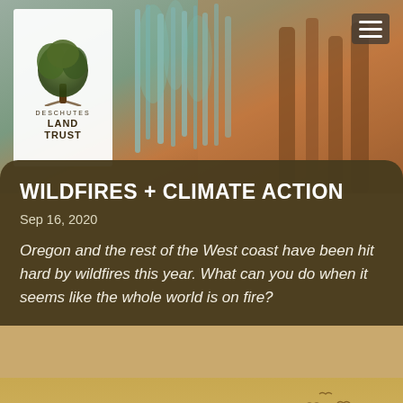[Figure (photo): Hero nature photo showing blue-gray wild plants/grasses against a warm orange-brown blurred background]
[Figure (logo): Deschutes Land Trust logo: tree illustration above text reading DESCHUTES LAND TRUST]
WILDFIRES + CLIMATE ACTION
Sep 16, 2020
Oregon and the rest of the West coast have been hit hard by wildfires this year. What can you do when it seems like the whole world is on fire?
[Figure (illustration): Silhouette illustration of birds in flight against a golden/amber smoky sky background, with a bare tree branch in the center with one bird perched on it]